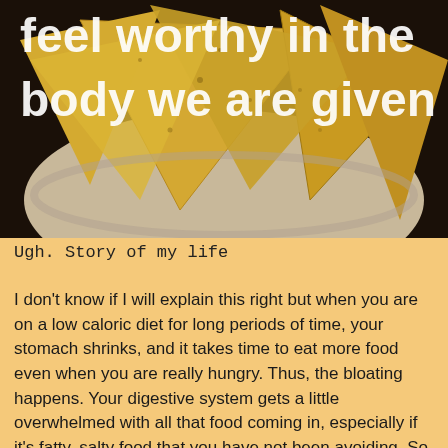[Figure (photo): A bowl of tortilla chips (nacho chips) with overlaid white text reading 'feel worthy in the body we are given' on a dark background. The chips appear golden/yellow, arranged in a round bowl.]
Ugh. Story of my life
I don't know if I will explain this right but when you are on a low caloric diet for long periods of time, your stomach shrinks, and it takes time to eat more food even when you are really hungry. Thus, the bloating happens. Your digestive system gets a little overwhelmed with all that food coming in, especially if it's fatty, salty food that you have not been avoiding. So it starts working in overdrive.